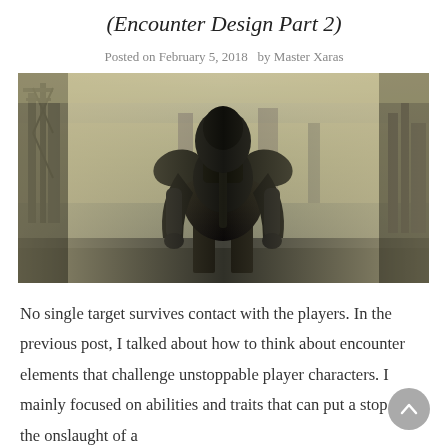(Encounter Design Part 2)
Posted on February 5, 2018  by Master Xaras
[Figure (photo): Dark armored figure viewed from behind, standing in a foggy ruined environment with industrial structures in the background. The figure wears heavy dark plate armor with a large cloak or cape. The scene has a muted, grimy color palette suggesting a post-apocalyptic or dark fantasy setting.]
No single target survives contact with the players. In the previous post, I talked about how to think about encounter elements that challenge unstoppable player characters. I mainly focused on abilities and traits that can put a stop to the onslaught of a